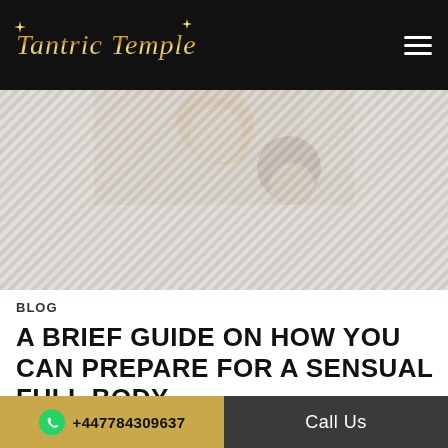Tantric Temple
[Figure (photo): Two people in a soft, intimate setting; blonde woman leaning over, warm light background]
BLOG
A BRIEF GUIDE ON HOW YOU CAN PREPARE FOR A SENSUAL FULL BODY
+447784309637   Call Us